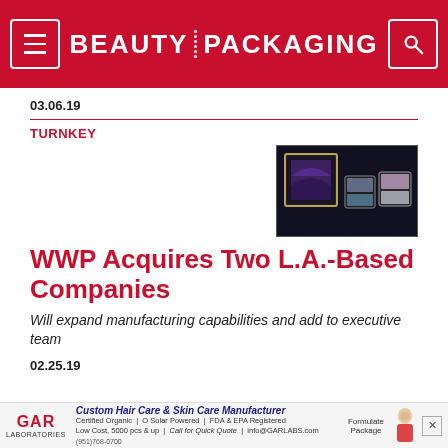BEAUTY PACKAGING
03.06.19
TURNKEY
[Figure (photo): Three cosmetic compact eyeshadow palettes arranged on a dark background – one large square gold compact open showing purple shadow, and two smaller compacts with pastel colors]
WWP Acquires Two L.A.-Based Companies
Will expand manufacturing capabilities and add to executive team
02.25.19
GAR LABORATORIES – Custom Hair Care & Skin Care Manufacturer. Certified Organic | O Solar Powered | FDA & EPA Registered. Low Cost, 5000 pcs & up | Call for Quick Quote | info@GARLABS.com. Formulate Package. (951)768-0700